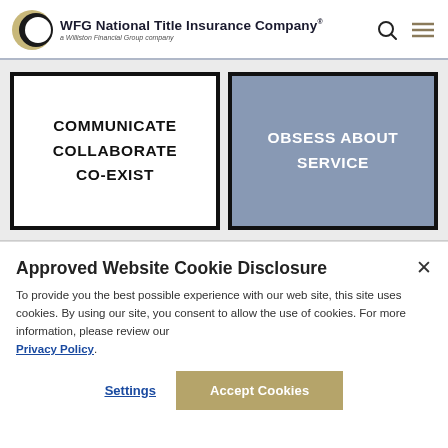[Figure (logo): WFG National Title Insurance Company logo with crescent moon icon and tagline 'a Williston Financial Group company']
[Figure (infographic): Two side-by-side boxes: left white box with black border reading 'COMMUNICATE COLLABORATE CO-EXIST'; right blue-gray box with black border reading 'OBSESS ABOUT SERVICE']
Approved Website Cookie Disclosure
To provide you the best possible experience with our web site, this site uses cookies. By using our site, you consent to allow the use of cookies. For more information, please review our Privacy Policy.
Settings
Accept Cookies